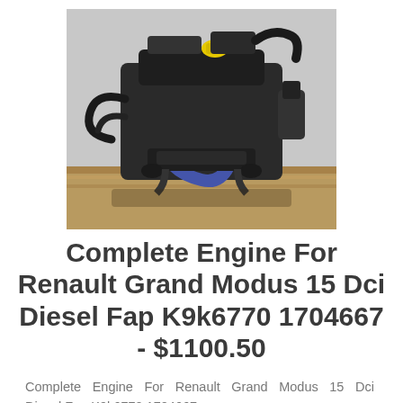[Figure (photo): Photo of a complete diesel engine (Renault Grand Modus 1.5 Dci) mounted on a wooden pallet, photographed against a light gray background. The engine is dark/black with hoses and components visible.]
Complete Engine For Renault Grand Modus 15 Dci Diesel Fap K9k6770 1704667 - $1100.50
Complete Engine For Renault Grand Modus 15 Dci Diesel Fap K9k6770 1704667
The Replacement Complete Engine Works For Brand